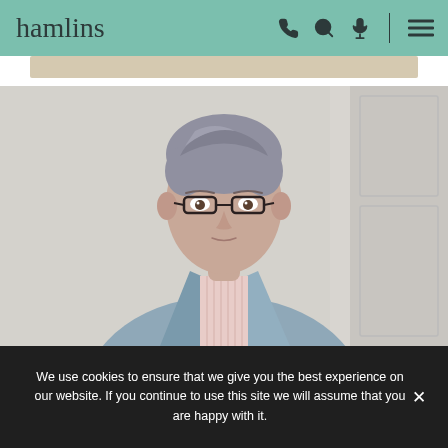hamlins
[Figure (photo): Professional headshot photo of a person with short grey hair wearing glasses, a light blue blazer and pink striped shirt, standing against a white panelled door background]
We use cookies to ensure that we give you the best experience on our website. If you continue to use this site we will assume that you are happy with it.